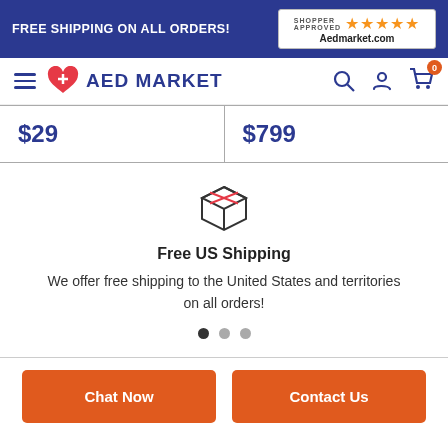FREE SHIPPING ON ALL ORDERS! | Shopper Approved ★★★★★ Aedmarket.com
[Figure (logo): AED Market logo with heart icon and navigation icons]
| $29 | $799 |
[Figure (illustration): Package/box icon representing shipping]
Free US Shipping
We offer free shipping to the United States and territories on all orders!
Chat Now
Contact Us